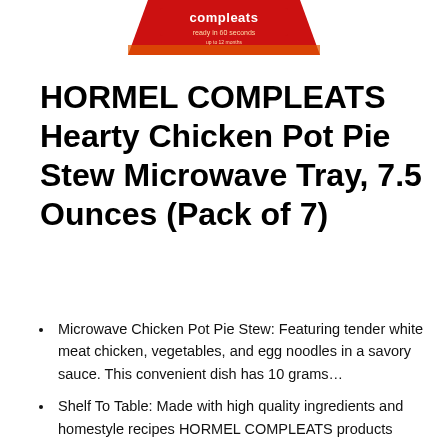[Figure (photo): Partial view of HORMEL COMPLEATS product packaging — red and white label with text 'compleats ready in 60 seconds' visible at top of page]
HORMEL COMPLEATS Hearty Chicken Pot Pie Stew Microwave Tray, 7.5 Ounces (Pack of 7)
Microwave Chicken Pot Pie Stew: Featuring tender white meat chicken, vegetables, and egg noodles in a savory sauce. This convenient dish has 10 grams…
Shelf To Table: Made with high quality ingredients and homestyle recipes HORMEL COMPLEATS products